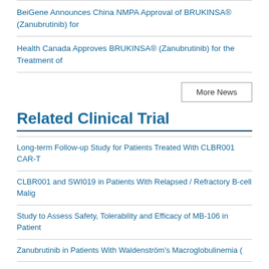BeiGene Announces China NMPA Approval of BRUKINSA® (Zanubrutinib) for
Health Canada Approves BRUKINSA® (Zanubrutinib) for the Treatment of
More News
Related Clinical Trial
Long-term Follow-up Study for Patients Treated With CLBR001 CAR-T
CLBR001 and SWI019 in Patients With Relapsed / Refractory B-cell Malig
Study to Assess Safety, Tolerability and Efficacy of MB-106 in Patient
Zanubrutinib in Patients With Waldenström's Macroglobulinemia (